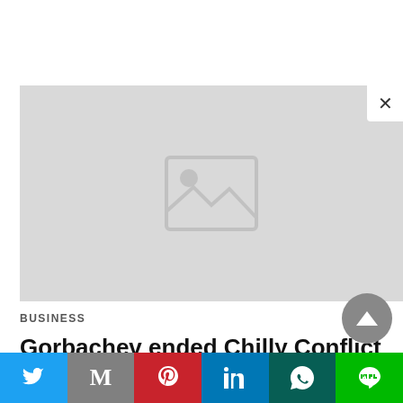[Figure (photo): Image placeholder with broken image icon on grey background, with X close button in top right corner]
BUSINESS
Gorbachev ended Chilly Conflict however presided over Soviet collanse By Reuters
[Figure (infographic): Social share bar with Twitter, Gmail, Pinterest, LinkedIn, WhatsApp, and LINE buttons]